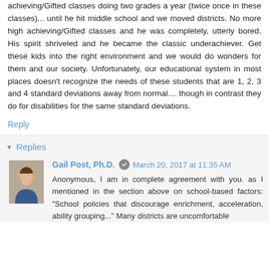achieving/Gifted classes doing two grades a year (twice once in these classes)... until he hit middle school and we moved districts. No more high achieving/Gifted classes and he was completely, utterly bored. His spirit shriveled and he became the classic underachiever. Get these kids into the right environment and we would do wonders for them and our society. Unfortunately, our educational system in most places doesn't recognize the needs of these students that are 1, 2, 3 and 4 standard deviations away from normal.... though in contrast they do for disabilities for the same standard deviations.
Reply
Replies
Gail Post, Ph.D.  March 20, 2017 at 11:35 AM
Anonymous, I am in complete agreement with you. as I mentioned in the section above on school-based factors: "School policies that discourage enrichment, acceleration, ability grouping..." Many districts are uncomfortable